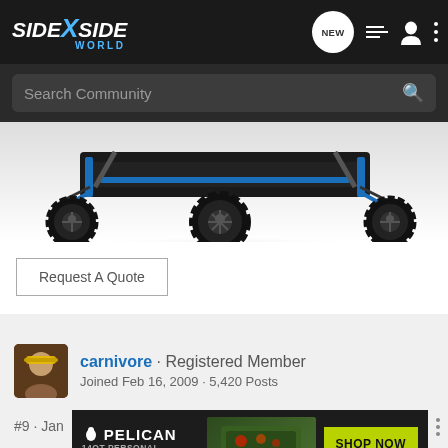[Figure (screenshot): SideXSide World website navigation bar with logo, NEW button, list icon, user icon, and dots menu]
[Figure (screenshot): Search Community search bar with search icon]
[Figure (photo): Side view of a UTV/SxS vehicle with black wheels and blue accents, showing undercarriage]
Request A Quote
carnivore · Registered Member
Joined Feb 16, 2009 · 5,420 Posts
#9 · Jan
[Figure (screenshot): Pelican 14QT Personal Cooler advertisement banner with SHOP NOW button]